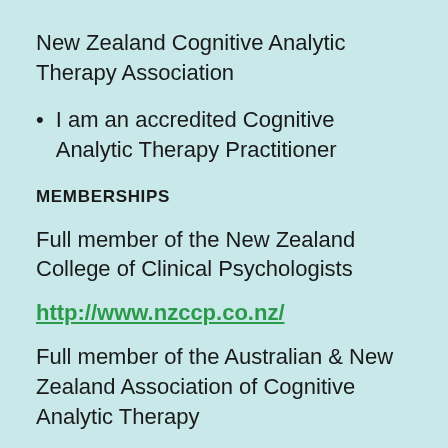New Zealand Cognitive Analytic Therapy Association
I am an accredited Cognitive Analytic Therapy Practitioner
MEMBERSHIPS
Full member of the New Zealand College of Clinical Psychologists
http://www.nzccp.co.nz/
Full member of the Australian & New Zealand Association of Cognitive Analytic Therapy